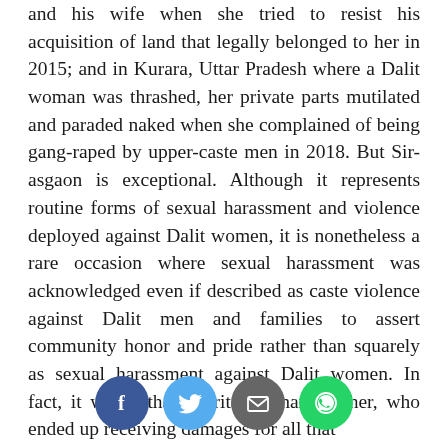and his wife when she tried to resist his acquisition of land that legally belonged to her in 2015; and in Kurara, Uttar Pradesh where a Dalit woman was thrashed, her private parts mutilated and paraded naked when she complained of being gang-raped by upper-caste men in 2018. But Sir-asgaon is exceptional. Although it represents routine forms of sexual harassment and violence deployed against Dalit women, it is nonetheless a rare occasion where sexual harassment was acknowledged even if described as caste violence against Dalit men and families to assert community honor and pride rather than squarely as sexual harassment against Dalit women. In fact, it was Vithal Amrita, Kishan's father, who ended up receiving damages for all that
[Figure (other): Social sharing buttons: Facebook (blue circle with f), Twitter (light blue circle with bird icon), Email (dark grey circle with envelope icon), WhatsApp (green circle with phone icon)]